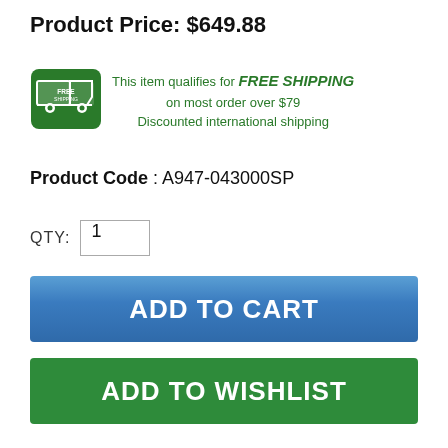Product Price: $649.88
[Figure (illustration): Green delivery truck icon with FREE SHIPPING label]
This item qualifies for FREE SHIPPING on most order over $79 Discounted international shipping
Product Code : A947-043000SP
QTY: 1
ADD TO CART
ADD TO WISHLIST